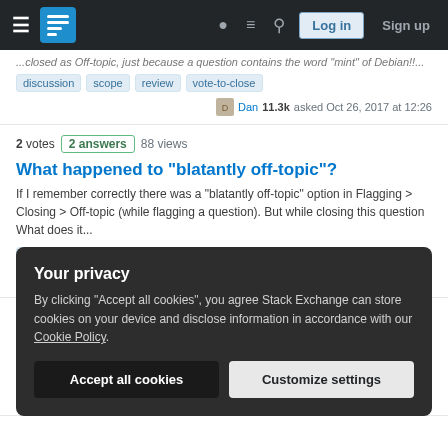Stack Exchange navigation bar with Log in and Sign up buttons
...closed as Off-topic, just because a question contains the word 'mint' of 'Debian'!!...
Tags: discussion, scope, review, vote-to-close
Dan 11.3k asked Oct 26, 2017 at 12:26
2 votes  2 answers  88 views
What happened to "blatantly off-topic"?
If I remember correctly there was a "blatantly off-topic" option in Flagging > Closing > Off-topic (while flagging a question). But while closing this question What does it...
Tags: discussion, flagging, close-reasons, vote-to-close
pomsky 64k asked Oct 23, 2017 at 15:01
Your privacy
By clicking "Accept all cookies", you agree Stack Exchange can store cookies on your device and disclose information in accordance with our Cookie Policy.
Accept all cookies
Customize settings